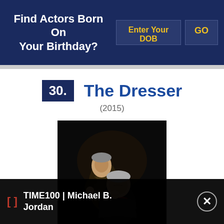Find Actors Born On Your Birthday?
Enter Your DOB
GO
30. The Dresser
(2015)
[Figure (photo): Two elderly actors in dark, dramatic lighting — one standing behind the other who is seated, set against a black background. Promotional or production still from The Dresser (2015).]
TIME100 | Michael B. Jordan